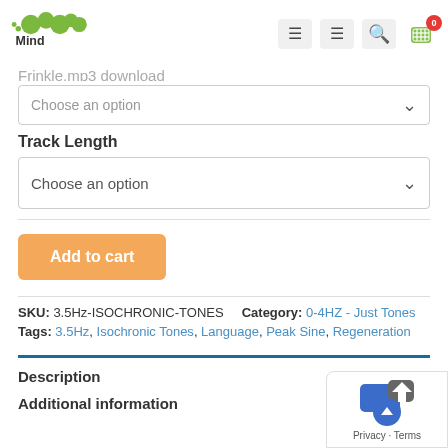MindAmend (logo header with navigation icons and cart)
Choose an option (top dropdown)
Track Length
Choose an option (main dropdown)
Add to cart
SKU: 3.5Hz-ISOCHRONIC-TONES   Category: 0-4HZ - Just Tones
Tags: 3.5Hz, Isochronic Tones, Language, Peak Sine, Regeneration
Description
Additional information